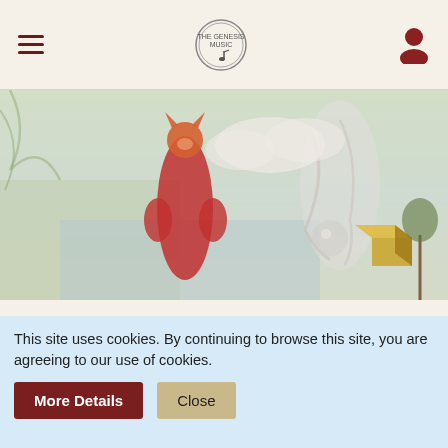GENESIS Music Board – header navigation with hamburger menu, logo, and user icon
[Figure (illustration): Collage banner image showing fantasy artwork: a fox-like figure in a red dress standing on a rocky landscape on the left, and a flowing ghostly female figure with swirling clouds and a golden box on the right, muted dreamy tones]
← Supper's Ready | GENESIS Music Board
Show Sidebar
I Love Calling All Stations (And It Only Took Me Twenty Years)
This site uses cookies. By continuing to browse this site, you are agreeing to our use of cookies.
More Details  Close